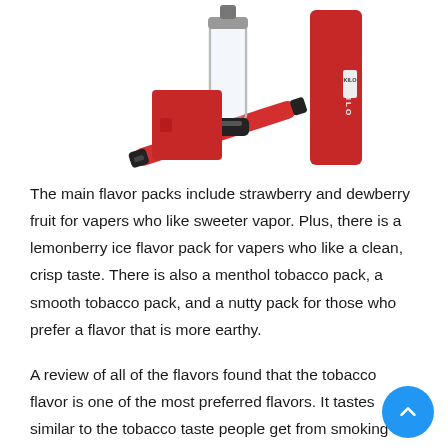[Figure (photo): Photo of red vape/e-cigarette devices and accessories, including a pen-style device and a box-style device with KILO branding, on white background.]
The main flavor packs include strawberry and dewberry fruit for vapers who like sweeter vapor. Plus, there is a lemonberry ice flavor pack for vapers who like a clean, crisp taste. There is also a menthol tobacco pack, a smooth tobacco pack, and a nutty pack for those who prefer a flavor that is more earthy.
A review of all of the flavors found that the tobacco flavor is one of the most preferred flavors. It tastes similar to the tobacco taste people get from smoking a pipe or cigarette. Some also say that it feels similar to us...